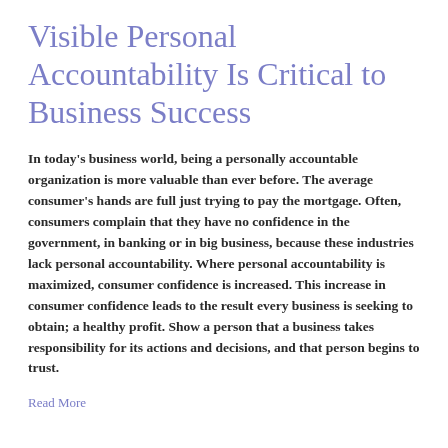Visible Personal Accountability Is Critical to Business Success
In today's business world, being a personally accountable organization is more valuable than ever before. The average consumer's hands are full just trying to pay the mortgage. Often, consumers complain that they have no confidence in the government, in banking or in big business, because these industries lack personal accountability. Where personal accountability is maximized, consumer confidence is increased. This increase in consumer confidence leads to the result every business is seeking to obtain; a healthy profit. Show a person that a business takes responsibility for its actions and decisions, and that person begins to trust.
Read More